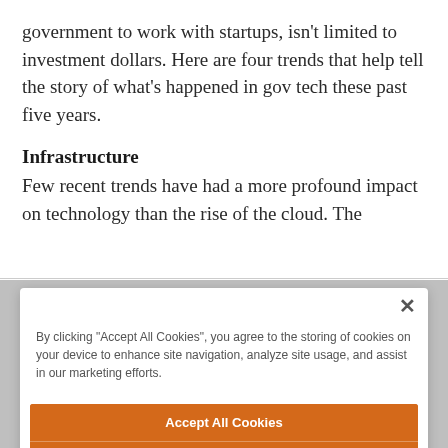government to work with startups, isn't limited to investment dollars. Here are four trends that help tell the story of what's happened in gov tech these past five years.
Infrastructure
Few recent trends have had a more profound impact on technology than the rise of the cloud. The
By clicking "Accept All Cookies", you agree to the storing of cookies on your device to enhance site navigation, analyze site usage, and assist in our marketing efforts.
Accept All Cookies
Reject All
Cookies Settings